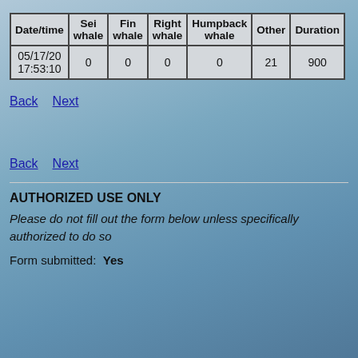| Date/time | Sei whale | Fin whale | Right whale | Humpback whale | Other | Duration |
| --- | --- | --- | --- | --- | --- | --- |
| 05/17/20 17:53:10 | 0 | 0 | 0 | 0 | 21 | 900 |
Back   Next
Back   Next
AUTHORIZED USE ONLY
Please do not fill out the form below unless specifically authorized to do so
Form submitted:  Yes